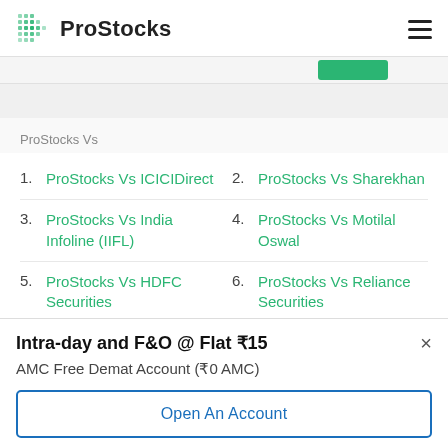ProStocks
ProStocks Vs
1. ProStocks Vs ICICIDirect
2. ProStocks Vs Sharekhan
3. ProStocks Vs India Infoline (IIFL)
4. ProStocks Vs Motilal Oswal
5. ProStocks Vs HDFC Securities
6. ProStocks Vs Reliance Securities
Intra-day and F&O @ Flat ₹15
AMC Free Demat Account (₹0 AMC)
Open An Account